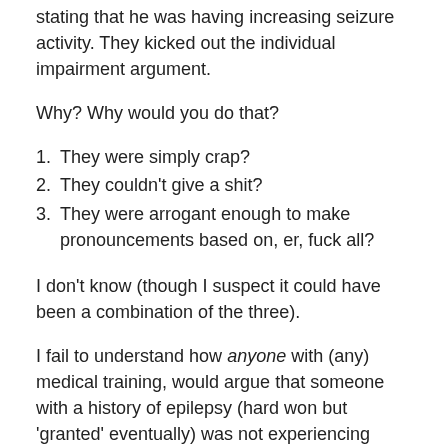stating that he was having increasing seizure activity. They kicked out the individual impairment argument.
Why? Why would you do that?
They were simply crap?
They couldn't give a shit?
They were arrogant enough to make pronouncements based on, er, fuck all?
I don't know (though I suspect it could have been a combination of the three).
I fail to understand how anyone with (any) medical training, would argue that someone with a history of epilepsy (hard won but 'granted' eventually) was not experiencing seizures. Why would you? For what reason? For what outcome?